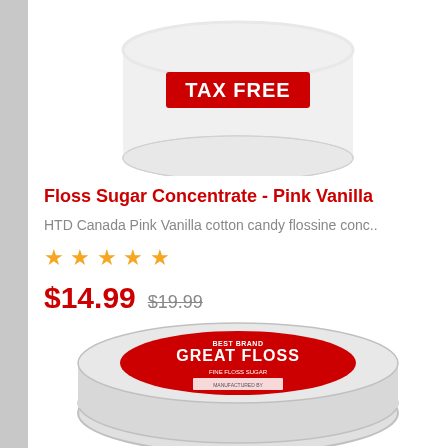[Figure (photo): White tub of Floss Sugar Concentrate with a red TAX FREE banner label, partially cropped at top]
Floss Sugar Concentrate - Pink Vanilla
HTD Canada Pink Vanilla cotton candy flossine conc..
★★★★★ (5 stars)
$14.99  $19.99 (strikethrough)
[Figure (photo): Red and white circular tin of Great Floss floss sugar, partially visible at bottom of page]